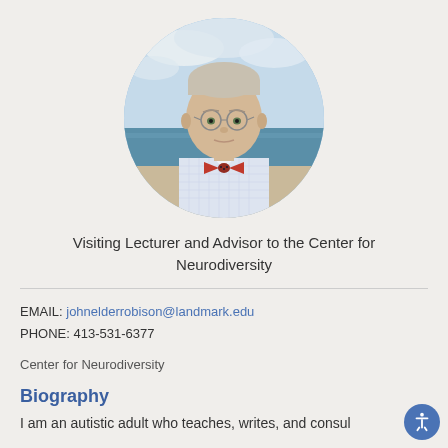[Figure (photo): Circular profile photo of a middle-aged man with glasses and a red bow tie, standing at a beach with ocean and cloudy sky in the background]
Visiting Lecturer and Advisor to the Center for Neurodiversity
EMAIL: johnelderrobison@landmark.edu
PHONE: 413-531-6377
Center for Neurodiversity
Biography
I am an autistic adult who teaches, writes, and consul